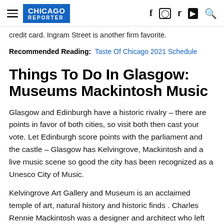CHICAGO REPORTER
credit card. Ingram Street is another firm favorite.
Recommended Reading: Taste Of Chicago 2021 Schedule
Things To Do In Glasgow: Museums Mackintosh Music
Glasgow and Edinburgh have a historic rivalry – there are points in favor of both cities, so visit both then cast your vote. Let Edinburgh score points with the parliament and the castle – Glasgow has Kelvingrove, Mackintosh and a live music scene so good the city has been recognized as a Unesco City of Music.
Kelvingrove Art Gallery and Museum is an acclaimed temple of art, natural history and historic finds . Charles Rennie Mackintosh was a designer and architect who left his